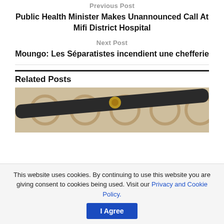Previous Post
Public Health Minister Makes Unannounced Call At Mifi District Hospital
Next Post
Moungo: Les Séparatistes incendient une chefferie
Related Posts
[Figure (photo): A close-up photo of what appears to be an ornate metal object, possibly a scepter or ceremonial item, with decorative metalwork visible in the background.]
This website uses cookies. By continuing to use this website you are giving consent to cookies being used. Visit our Privacy and Cookie Policy.
I Agree